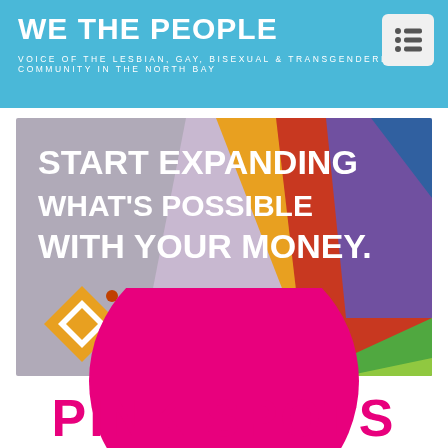WE THE PEOPLE
VOICE OF THE LESBIAN, GAY, BISEXUAL & TRANSGENDERED COMMUNITY IN THE NORTH BAY
[Figure (photo): Advertisement for Abacus Wealth featuring a rainbow flag background with white bold text reading 'START EXPANDING WHAT'S POSSIBLE WITH YOUR MONEY.' and contact info for Susan Olson, CFP®, susan@abacuswealth.com, www.abacuswealth.com with Abacus logo (orange diamond shape)]
[Figure (logo): Pink circle with text 'PINK SPOTS' in large magenta/hot pink bold letters partially visible at bottom of page]